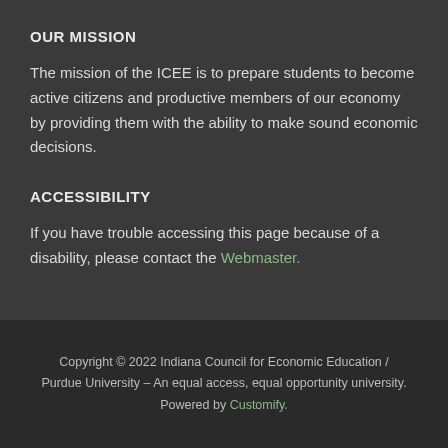OUR MISSION
The mission of the ICEE is to prepare students to become active citizens and productive members of our economy by providing them with the ability to make sound economic decisions.
ACCESSIBILITY
If you have trouble accessing this page because of a disability, please contact the Webmaster.
Copyright © 2022 Indiana Council for Economic Education / Purdue University – An equal access, equal opportunity university. Powered by Customify.